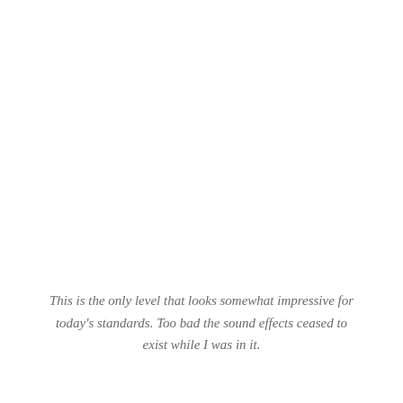This is the only level that looks somewhat impressive for today's standards. Too bad the sound effects ceased to exist while I was in it.